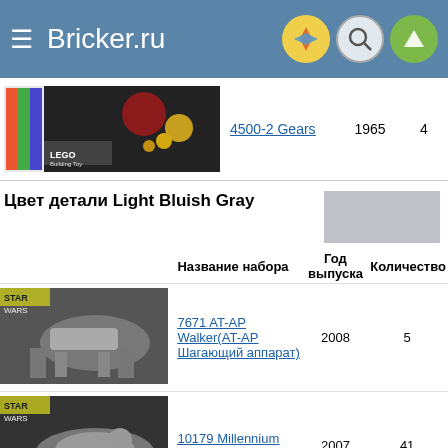Bricker.ru
|  | Название набора | Год выпуска | Количество |
| --- | --- | --- | --- |
| [img] | 4500-2 Gears | 1965 | 4 |
Цвет детали Light Bluish Gray
|  | Название набора | Год выпуска | Количество |
| --- | --- | --- | --- |
| [img] | 7671 AT-AP Walker(AT-AP Шагающий аппарат) | 2008 | 5 |
| [img] | 10179 Millennium Falcon | 2007 | 41 |
| [img] | 7656 General Grievous™ Starfighter(Звёздный истребитель генерала Гривуса) | 2007 | 2 |
| [img] |  |  |  |